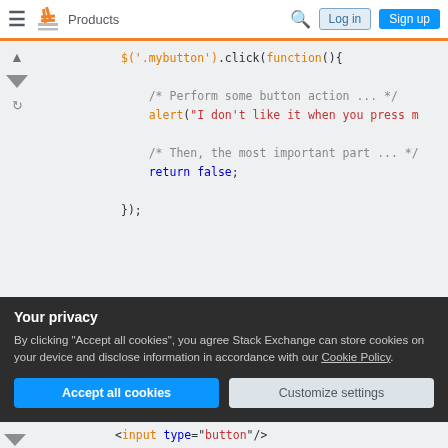Products | Log in | Sign up
[Figure (screenshot): Code snippet showing jQuery click handler with comments and return false]
Share
Improve this answer
Follow
answered Jan 7, 2014 at 3:19
axiom82
620 ●1 ●7 ●15
Your privacy
By clicking "Accept all cookies", you agree Stack Exchange can store cookies on your device and disclose information in accordance with our Cookie Policy.
Accept all cookies  Customize settings
[Figure (screenshot): Bottom code snippet showing <input type="button"/>]